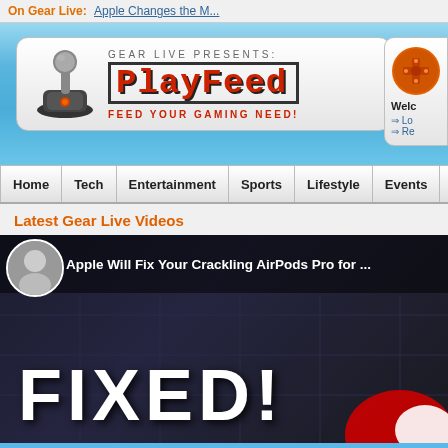On Gear Live: Apple Changes the M...
[Figure (logo): PlayFeed logo with joystick icon. GEAR LIVE PRESENTS: PlayFeed - FEED YOUR GAMING NEED!]
[Figure (screenshot): Welcome box with orange controller icon, Lo... and Re... links]
Home | Tech | Entertainment | Sports | Lifestyle | Events | Per...
Latest Gear Live Videos
[Figure (screenshot): Video thumbnail showing FIXED! text with avatar and title: Apple Will Fix Your Crackling AirPods Pro for ...]